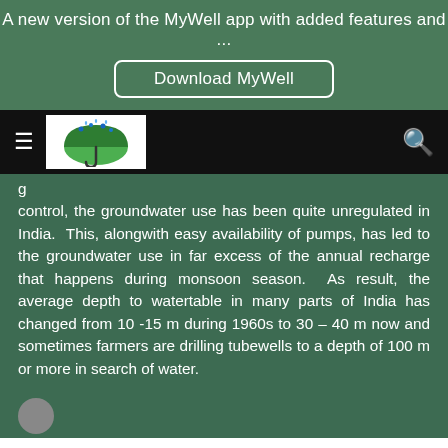A new version of the MyWell app with added features and …
Download MyWell
[Figure (logo): MyWell app logo — umbrella icon with blue and green colors on white background]
control, the groundwater use has been quite unregulated in India. This, alongwith easy availability of pumps, has led to the groundwater use in far excess of the annual recharge that happens during monsoon season. As result, the average depth to watertable in many parts of India has changed from 10 -15 m during 1960s to 30 – 40 m now and sometimes farmers are drilling tubewells to a depth of 100 m or more in search of water.